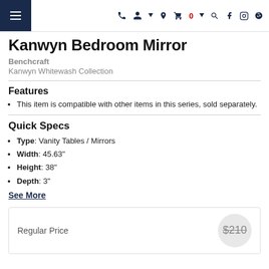Navigation bar with hamburger menu, phone, account, location, cart (0), search, Facebook, Instagram, Yelp icons
Kanwyn Bedroom Mirror
Benchcraft
Kanwyn Whitewash Collection
Features
This item is compatible with other items in this series, sold separately.
Quick Specs
Type: Vanity Tables / Mirrors
Width: 45.63"
Height: 38"
Depth: 3"
See More
Regular Price $210